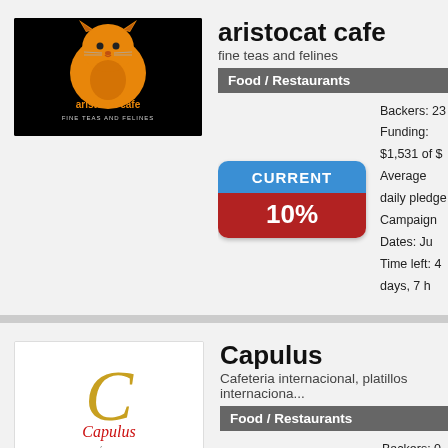[Figure (logo): Aristocat Cafe logo — orange cat on black background with text 'aristocat cafe fine teas and felines']
aristocat cafe
fine teas and felines
Food / Restaurants
CURRENT
10%
Backers: 23
Funding: $1,531 of $
Average daily pledge
Campaign Dates: Ju
Time left: 4 days, 7 h
[Figure (logo): Capulus logo — gold C letter with 'Capulus' in red script and 'EL CAFÉ NOS UNE' below on white background]
Capulus
Cafeteria internacional, platillos internaciona...
Food / Restaurants
CURRENT
0%
Backers: 0
Funding: MX$0 of MX
Average daily pledge
Campaign Dates: Ju
Time left: 4 days, 8 h